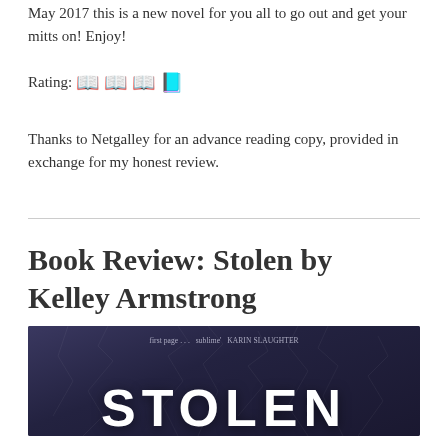May 2017 this is a new novel for you all to go out and get your mitts on! Enjoy!
Rating: 📖 📖 📖 📗
Thanks to Netgalley for an advance reading copy, provided in exchange for my honest review.
Book Review: Stolen by Kelley Armstrong
[Figure (photo): Book cover of 'Stolen' by Kelley Armstrong — dark blue/purple cracked stone background with the title 'STOLEN' in large white letters and a quote from Karin Slaughter at the top.]